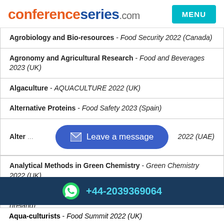conferenceseries.com | MENU
Agrobiology and Bio-resources - Food Security 2022 (Canada)
Agronomy and Agricultural Research - Food and Beverages 2023 (UK)
Algaculture - AQUACULTURE 2022 (UK)
Alternative Proteins - Food Safety 2023 (Spain)
Alter... 2022 (UAE)
[Figure (other): Leave a message button overlay with envelope icon and blue rounded rectangle background]
Analytical Methods in Green Chemistry - Green Chemistry 2022 (UK)
Anti-microbials and Medicinal Plant - PLANT SCIENCE 2022 (Ireland)
+44-2039369064
Aqua-culturists - Food Summit 2022 (UK)